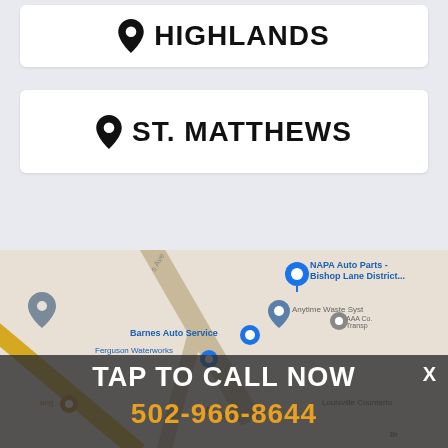HIGHLANDS
ST. MATTHEWS
[Figure (map): Google Maps screenshot showing Bishop Lane District area with business markers including NAPA Auto Parts, Anytime Waste Systems, Barnes Auto Service, AAA Co. Transportation, Ferguson Waterworks, Louisville Countertops. A semi-transparent dark overlay shows 'TAP TO CALL NOW' and phone number '502-966-8644'.]
TAP TO CALL NOW
502-966-8644